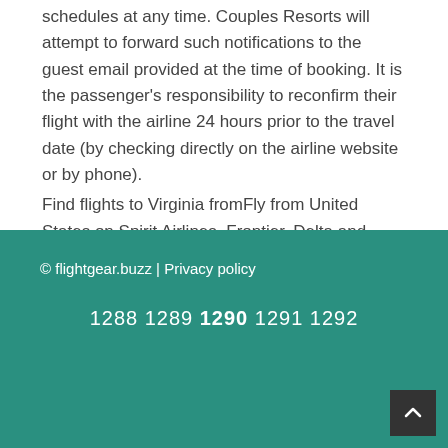schedules at any time. Couples Resorts will attempt to forward such notifications to the guest email provided at the time of booking. It is the passenger's responsibility to reconfirm their flight with the airline 24 hours prior to the travel date (by checking directly on the airline website or by phone).
Find flights to Virginia fromFly from United States on Spirit Airlines, Frontier, Delta and more. Search for Virginia flights on KAYAK now to find the best deal.
© flightgear.buzz | Privacy policy
1288 1289 1290 1291 1292